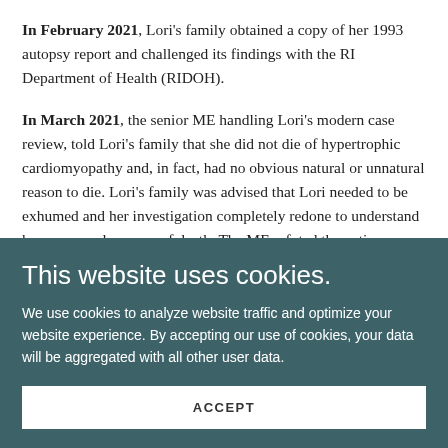In February 2021, Lori's family obtained a copy of her 1993 autopsy report and challenged its findings with the RI Department of Health (RIDOH).
In March 2021, the senior ME handling Lori's modern case review,  told Lori's family that she did not die of hypertrophic cardiomyopathy and, in fact, had no obvious natural or unnatural reason to die. Lori's family was advised that Lori needed to be exhumed and her investigation completely redone to understand her cause and manner of death. The ME refuted the entire original
This website uses cookies.
We use cookies to analyze website traffic and optimize your website experience. By accepting our use of cookies, your data will be aggregated with all other user data.
ACCEPT